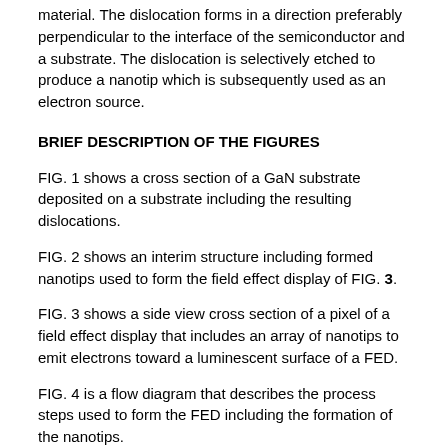material. The dislocation forms in a direction preferably perpendicular to the interface of the semiconductor and a substrate. The dislocation is selectively etched to produce a nanotip which is subsequently used as an electron source.
BRIEF DESCRIPTION OF THE FIGURES
FIG. 1 shows a cross section of a GaN substrate deposited on a substrate including the resulting dislocations.
FIG. 2 shows an interim structure including formed nanotips used to form the field effect display of FIG. 3.
FIG. 3 shows a side view cross section of a pixel of a field effect display that includes an array of nanotips to emit electrons toward a luminescent surface of a FED.
FIG. 4 is a flow diagram that describes the process steps used to form the FED including the formation of the nanotips.
FIG. 5 is a cross section of the bottom portion of a field effect display that shows an array of pixels, each pixel